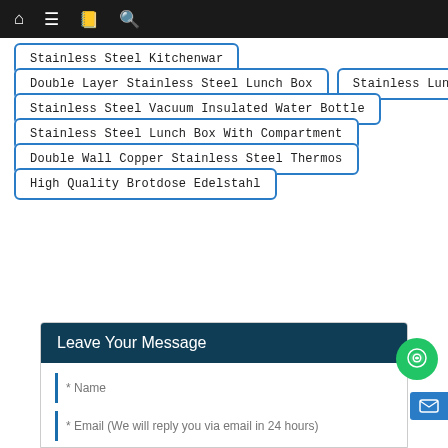Navigation bar with home, menu, book, and search icons
Stainless Steel Kitchenwar
Double Layer Stainless Steel Lunch Box
Stainless Lunch Box
Stainless Steel Vacuum Insulated Water Bottle
Stainless Steel Lunch Box With Compartment
Double Wall Copper Stainless Steel Thermos
High Quality Brotdose Edelstahl
Leave Your Message
* Name
* Email (We will reply you via email in 24 hours)